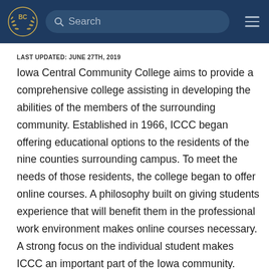BC [logo] Search [hamburger menu]
LAST UPDATED: JUNE 27TH, 2019
Iowa Central Community College aims to provide a comprehensive college assisting in developing the abilities of the members of the surrounding community. Established in 1966, ICCC began offering educational options to the residents of the nine counties surrounding campus. To meet the needs of those residents, the college began to offer online courses. A philosophy built on giving students experience that will benefit them in the professional work environment makes online courses necessary. A strong focus on the individual student makes ICCC an important part of the Iowa community. ICCC is working to continually innovate and improve in order to move students forward in an evolving